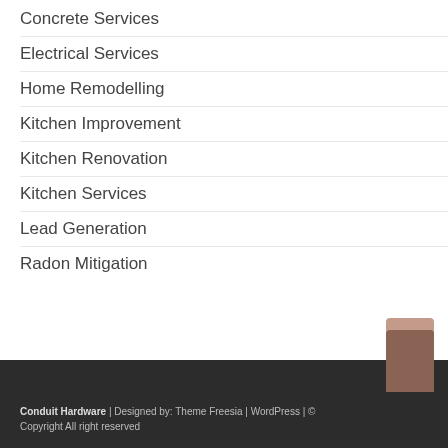Concrete Services
Electrical Services
Home Remodelling
Kitchen Improvement
Kitchen Renovation
Kitchen Services
Lead Generation
Radon Mitigation
Conduit Hardware | Designed by: Theme Freesia | WordPress | © Copyright All right reserved